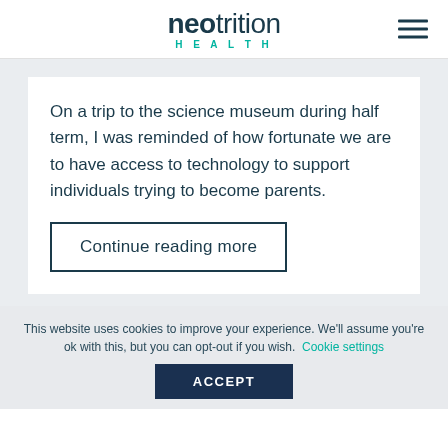neotrition HEALTH
On a trip to the science museum during half term, I was reminded of how fortunate we are to have access to technology to support individuals trying to become parents.
Continue reading more
This website uses cookies to improve your experience. We'll assume you're ok with this, but you can opt-out if you wish. Cookie settings
ACCEPT